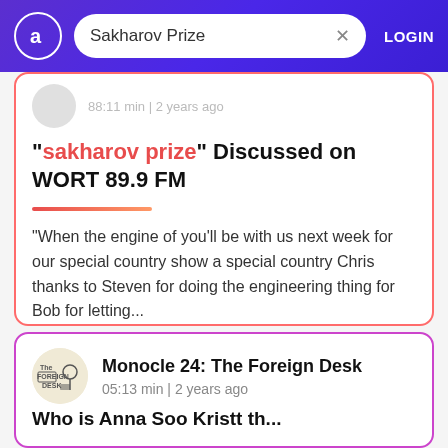Sakharov Prize — LOGIN
"sakharov prize" Discussed on WORT 89.9 FM
"When the engine of you'll be with us next week for our special country show a special country Chris thanks to Steven for doing the engineering thing for Bob for letting...
Monocle 24: The Foreign Desk — 05:13 min | 2 years ago
Who is Anna...